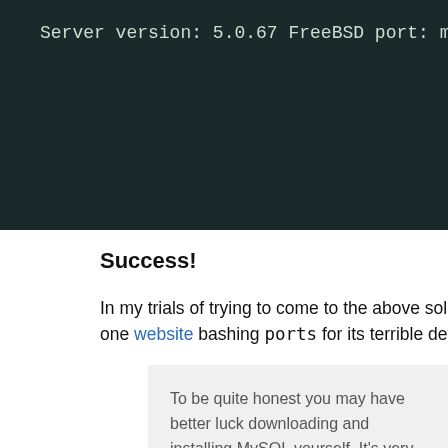[Figure (screenshot): Terminal/console screenshot showing MySQL server version 5.0.67 FreeBSD port, help prompt, and mysql> prompt on dark background]
Success!
In my trials of trying to come to the above solution, I ran across one website bashing ports for its terrible default installa...
To be quite honest you may have better luck downloading and installing MySQL yourself. It's very rare I install anything from the ports on FreeBSD or apt repositories on Debian, simply because you have little (if any) control over what goes on. At least if you do it yourself you know how you're setting the system up. That's just from personal experience.